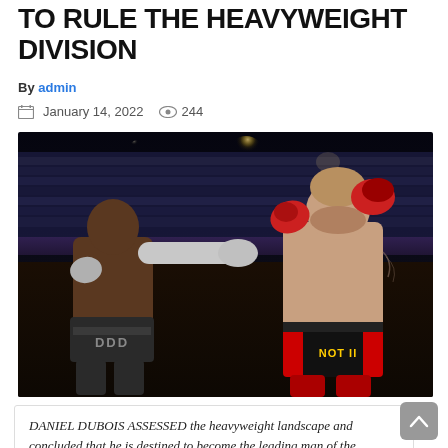TO RULE THE HEAVYWEIGHT DIVISION
By admin
January 14, 2022  244
[Figure (photo): Two heavyweight boxers in a ring mid-fight. The fighter on the left (darker skin, wearing DDD trunks) is throwing a jab at the fighter on the right who is wearing red and black trunks. Arena crowd in background.]
DANIEL DUBOIS ASSESSED the heavyweight landscape and concluded that he is destined to become the leading man of the division when his time comes.